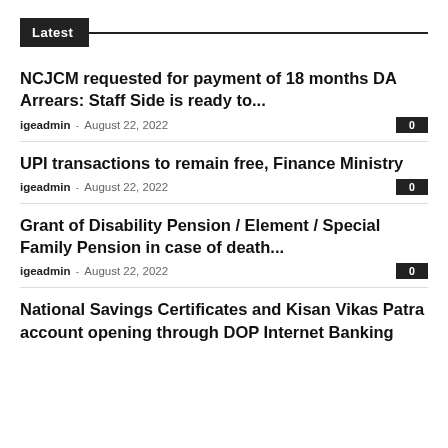Latest
NCJCM requested for payment of 18 months DA Arrears: Staff Side is ready to...
igeadmin - August 22, 2022  0
UPI transactions to remain free, Finance Ministry
igeadmin - August 22, 2022  0
Grant of Disability Pension / Element / Special Family Pension in case of death...
igeadmin - August 22, 2022  0
National Savings Certificates and Kisan Vikas Patra account opening through DOP Internet Banking